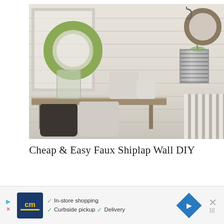[Figure (photo): Interior decorating photo showing a farmhouse-style entryway with white shiplap walls. Features a green magnolia leaf wreath in a white frame, a rustic wooden console table with stoneware crocks and small potted plants, a hanging metal tin with eucalyptus, round wicker mirror, and striped bench cushion.]
Cheap & Easy Faux Shiplap Wall DIY
[Figure (other): Advertisement banner. Shows: left arrow icon, 'cm' logo in blue/yellow, checkmarks listing 'In-store shopping', 'Curbside pickup', 'Delivery', a blue diamond/arrow icon, and an X close button with menu bars icon.]